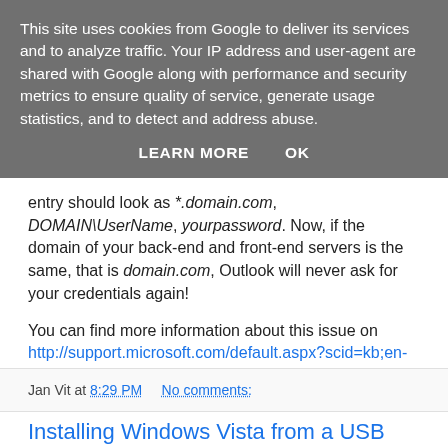This site uses cookies from Google to deliver its services and to analyze traffic. Your IP address and user-agent are shared with Google along with performance and security metrics to ensure quality of service, generate usage statistics, and to detect and address abuse.
LEARN MORE   OK
entry should look as *.domain.com, DOMAIN\UserName, yourpassword. Now, if the domain of your back-end and front-end servers is the same, that is domain.com, Outlook will never ask for your credentials again!
You can find more information about this issue on http://support.microsoft.com/default.aspx?scid=kb;en-us;820281.
Jan Vit at 8:29 PM   No comments:
Installing Windows Vista from a USB flash drive